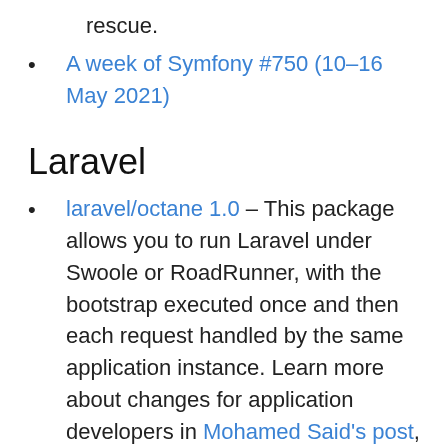rescue.
A week of Symfony #750 (10-16 May 2021)
Laravel
laravel/octane 1.0 – This package allows you to run Laravel under Swoole or RoadRunner, with the bootstrap executed once and then each request handled by the same application instance. Learn more about changes for application developers in Mohamed Said's post, and also from Marcel Pociot.